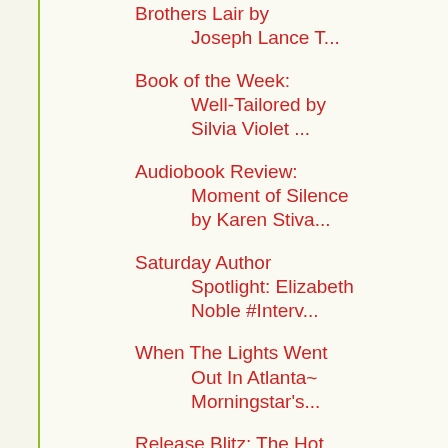Brothers Lair by Joseph Lance T...
Book of the Week: Well-Tailored by Silvia Violet ...
Audiobook Review: Moment of Silence by Karen Stiva...
Saturday Author Spotlight: Elizabeth Noble #Interv...
When The Lights Went Out In Atlanta~ Morningstar's...
Release Blitz: The Hot Floor by Josephine Myles #G...
Blog Tour: Choices and Changes by TM Smith #Interv...
Random Review: Never Apart by Ashe Winters #Review...